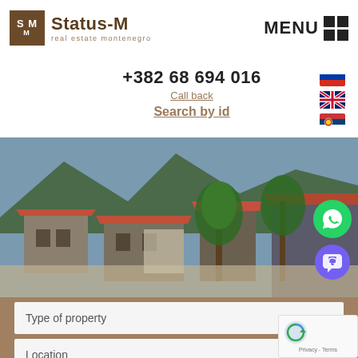[Figure (logo): Status-M real estate Montenegro logo with brown SM box and text]
MENU
+382 68 694 016
Call back
Search by id
[Figure (photo): Montenegro coastal town with stone buildings, orange rooftops, and palm trees against mountain backdrop]
Type of property
Location